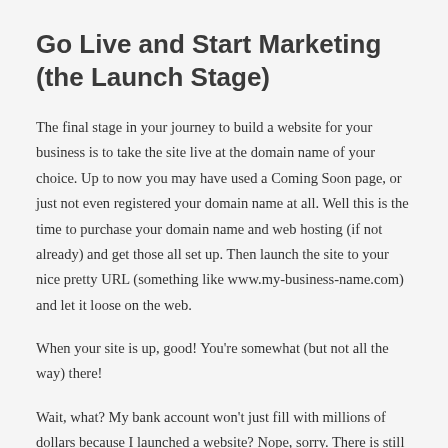Go Live and Start Marketing (the Launch Stage)
The final stage in your journey to build a website for your business is to take the site live at the domain name of your choice. Up to now you may have used a Coming Soon page, or just not even registered your domain name at all. Well this is the time to purchase your domain name and web hosting (if not already) and get those all set up. Then launch the site to your nice pretty URL (something like www.my-business-name.com) and let it loose on the web.
When your site is up, good! You're somewhat (but not all the way) there!
Wait, what? My bank account won't just fill with millions of dollars because I launched a website? Nope, sorry. There is still a little marketing and promotion to be done